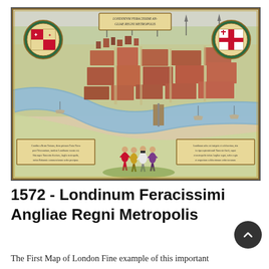[Figure (map): Historical map of London from 1572 titled 'Londinum Feracissimi Angliae Regni Metropolis'. A bird's-eye view map showing the city of London with the River Thames running through it. Decorative coats of arms in upper left and upper right corners. Figures of people in period costume stand in the foreground bottom center. Text cartouches in lower left and lower right corners. Beige/cream background with colorful illustration of buildings and streets.]
1572 - Londinum Feracissimi Angliae Regni Metropolis
The First Map of London Fine example of this important